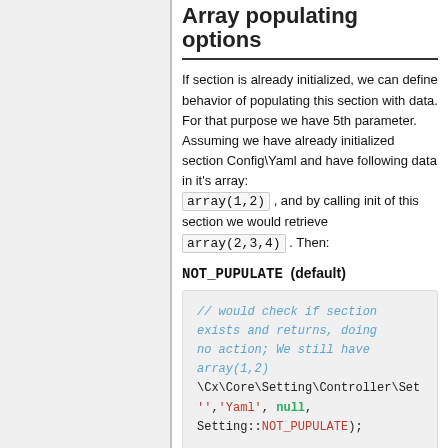Array populating options
If section is already initialized, we can define behavior of populating this section with data. For that purpose we have 5th parameter. Assuming we have already initialized section Config\Yaml and have following data in it's array: array(1,2) , and by calling init of this section we would retrieve array(2,3,4) . Then:
NOT_PUPULATE  (default)
// would check if section exists and returns, doing no action; We still have array(1,2)
\Cx\Core\Setting\Controller\Setting::init('','Yaml', null, Setting::NOT_PUPULATE);